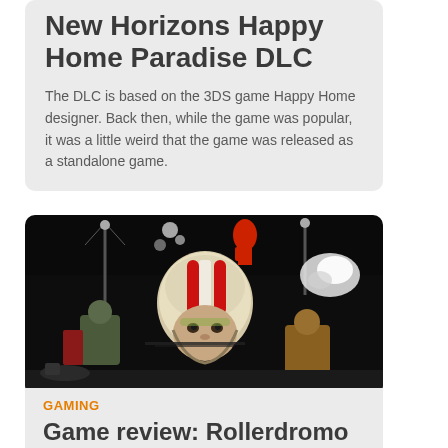New Horizons Happy Home Paradise DLC
The DLC is based on the 3DS game Happy Home designer. Back then, while the game was popular, it was a little weird that the game was released as a standalone game.
[Figure (illustration): Dark promotional illustration showing a character in a red and white striped helmet in a chaotic action scene with explosions, stadium lights, and other characters]
GAMING
Game review: Rollerdromo (PC)